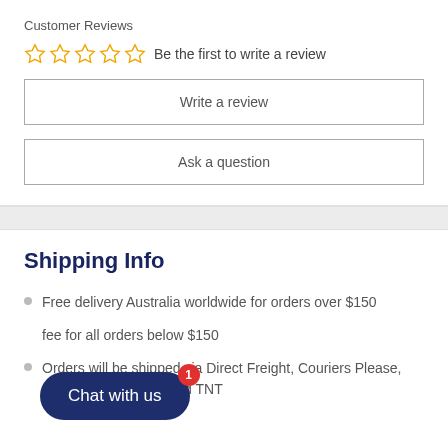Customer Reviews
Be the first to write a review
Write a review
Ask a question
Shipping Info
Free delivery Australia worldwide for orders over $150
fee for all orders below $150
Orders will be shipped via Direct Freight, Couriers Please, Fastway, Star Track and TNT